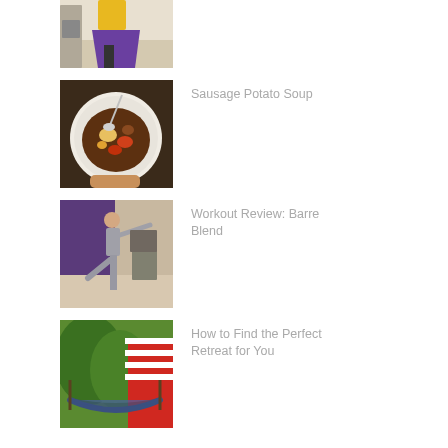[Figure (photo): Person in yellow top and purple skirt doing a dance or exercise move in a kitchen, barefoot]
[Figure (photo): Overhead view of a bowl of Sausage Potato Soup being held by a hand, with a spoon in the bowl]
Sausage Potato Soup
[Figure (photo): Woman in gray outfit doing a barre exercise pose in front of a purple curtain]
Workout Review: Barre Blend
[Figure (photo): Outdoor scene with a hammock and red and white striped awning, lush greenery in background]
How to Find the Perfect Retreat for You